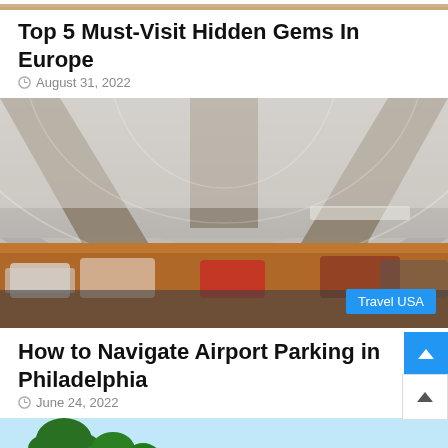[Figure (photo): Partial top strip of a previous article image (cropped at top)]
Top 5 Must-Visit Hidden Gems In Europe
August 31, 2022
[Figure (photo): Interior of an airport parking structure showing a curved metallic ceiling with arches, cars below, and a 'Travel USA' tag in the bottom right corner]
How to Navigate Airport Parking in Philadelphia
June 24, 2022
[Figure (photo): Partial image of a tropical scene with palm trees against a blue sky (cropped at bottom of page)]